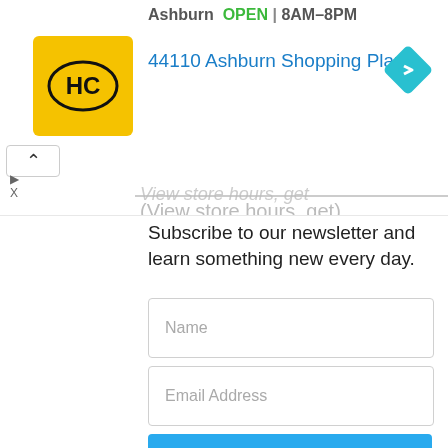[Figure (screenshot): Ad banner showing HC logo, Ashburn store listing with OPEN status and hours 8AM-8PM, address 44110 Ashburn Shopping Plaz..., navigation icon, and partially visible 'View store hours...' text with close controls]
Subscribe to our newsletter and learn something new every day.
Name
Email Address
Subscribe
Trending